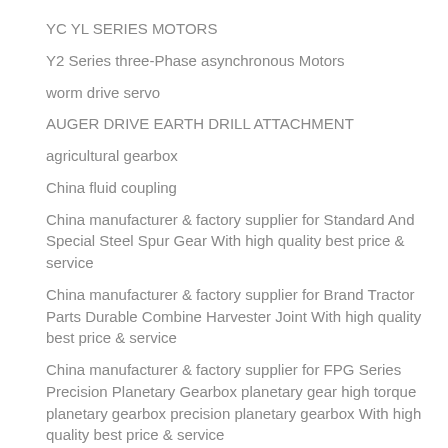YC YL SERIES MOTORS
Y2 Series three-Phase asynchronous Motors
worm drive servo
AUGER DRIVE EARTH DRILL ATTACHMENT
agricultural gearbox
China fluid coupling
China manufacturer & factory supplier for Standard And Special Steel Spur Gear With high quality best price & service
China manufacturer & factory supplier for Brand Tractor Parts Durable Combine Harvester Joint With high quality best price & service
China manufacturer & factory supplier for FPG Series Precision Planetary Gearbox planetary gear high torque planetary gearbox precision planetary gearbox With high quality best price & service